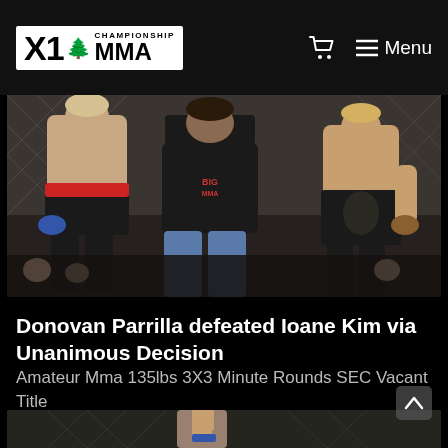X1 Championship MMA — Menu
[Figure (photo): MMA fighters and referee inside a chain-link cage at an X1 Championship MMA event. Two fighters visible on either side, referee in the middle wearing a black t-shirt and jeans.]
Donovan Parrilla defeated Ioane Kim via Unanimous Decision
Amateur Mma 135lbs 3X3 Minute Rounds SEC Vacant Title
[Figure (photo): Bottom portion of another MMA fight photo showing a fighter raising a finger inside the cage.]